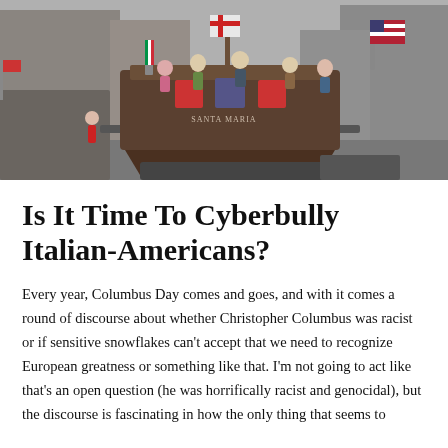[Figure (photo): A Columbus Day parade scene showing children riding on a float shaped like an old sailing ship (resembling the Santa Maria), with Italian flags and other flags visible. A large crowd lines the street in the background, with tall buildings visible. The float has the ship name written on it.]
Is It Time To Cyberbully Italian-Americans?
Every year, Columbus Day comes and goes, and with it comes a round of discourse about whether Christopher Columbus was racist or if sensitive snowflakes can't accept that we need to recognize European greatness or something like that. I'm not going to act like that's an open question (he was horrifically racist and genocidal), but the discourse is fascinating in how the only thing that seems to